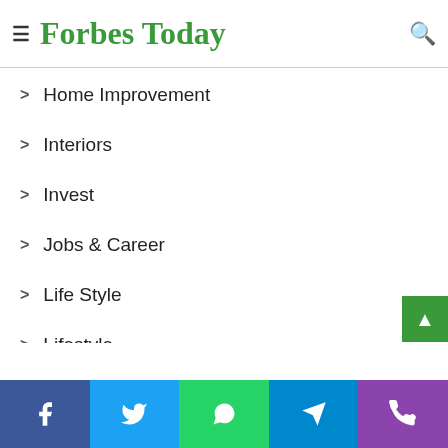Forbes Today
Health & Fitness
Home Improvement
Interiors
Invest
Jobs & Career
Life Style
Lifestyle
Make it Modern
Mobile Phones
New Look
News
Other